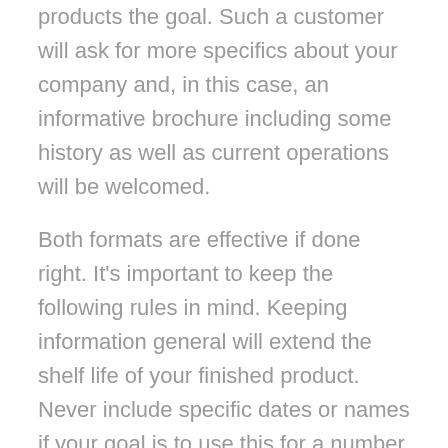products the goal. Such a customer will ask for more specifics about your company and, in this case, an informative brochure including some history as well as current operations will be welcomed.
Both formats are effective if done right. It's important to keep the following rules in mind. Keeping information general will extend the shelf life of your finished product. Never include specific dates or names if your goal is to use this for a number of years. Consider printing a separate insert with service or product pricing if it's likely to change in the near future. This will allow you to reprint one page instead of the entire